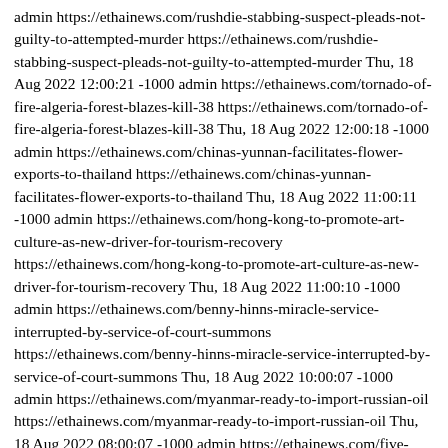admin https://ethainews.com/rushdie-stabbing-suspect-pleads-not-guilty-to-attempted-murder https://ethainews.com/rushdie-stabbing-suspect-pleads-not-guilty-to-attempted-murder Thu, 18 Aug 2022 12:00:21 -1000 admin https://ethainews.com/tornado-of-fire-algeria-forest-blazes-kill-38 https://ethainews.com/tornado-of-fire-algeria-forest-blazes-kill-38 Thu, 18 Aug 2022 12:00:18 -1000 admin https://ethainews.com/chinas-yunnan-facilitates-flower-exports-to-thailand https://ethainews.com/chinas-yunnan-facilitates-flower-exports-to-thailand Thu, 18 Aug 2022 11:00:11 -1000 admin https://ethainews.com/hong-kong-to-promote-art-culture-as-new-driver-for-tourism-recovery https://ethainews.com/hong-kong-to-promote-art-culture-as-new-driver-for-tourism-recovery Thu, 18 Aug 2022 11:00:10 -1000 admin https://ethainews.com/benny-hinns-miracle-service-interrupted-by-service-of-court-summons https://ethainews.com/benny-hinns-miracle-service-interrupted-by-service-of-court-summons Thu, 18 Aug 2022 10:00:07 -1000 admin https://ethainews.com/myanmar-ready-to-import-russian-oil https://ethainews.com/myanmar-ready-to-import-russian-oil Thu, 18 Aug 2022 08:00:07 -1000 admin https://ethainews.com/five-dead-after-storms-lash-frances-corsica https://ethainews.com/five-dead-after-storms-lash-frances-corsica Thu, 18 Aug 2022 07:00:20 -1000 admin https://ethainews.com/renovated-rajinee-pier-ready-to-open https://ethainews.com/renovated-rajinee-pier-ready-to-open Thu, 18 Aug 2022 07:00:11 -1000 admin https://ethainews.com/globalink-chinese-drones-make-thai-